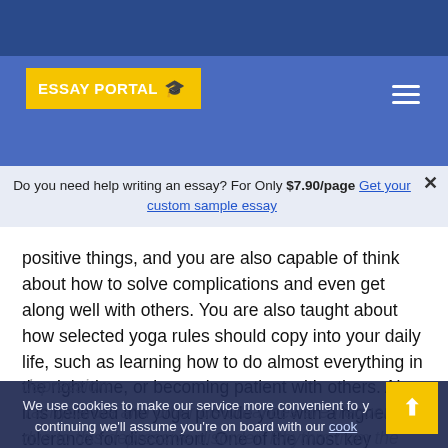ESSAY PORTAL
Do you need help writing an essay? For Only $7.90/page Get your custom sample essay
positive things, and you are also capable of think about how to solve complications and even get along well with others. You are also taught about how selected yoga rules should copy into your daily life, such as learning how to do almost everything in the right time, or becoming patient with others. Also, it is believed the yoga provide you with a higher tolerance for discomfort. One of the most key elements which cause the heart disease is definitely depression.
We use cookies to make our service more convenient for you. By continuing we'll assume you're on board with our cookie policy